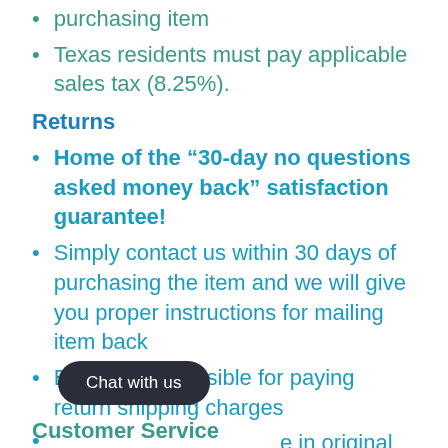purchasing item
Texas residents must pay applicable sales tax (8.25%).
Returns
Home of the “30-day no questions asked money back” satisfaction guarantee!
Simply contact us within 30 days of purchasing the item and we will give you proper instructions for mailing item back
Buyer is responsible for paying return shipping charges
e in original brand new condition packaging
Customer Service